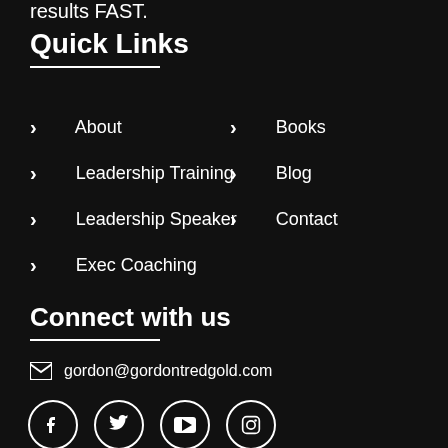results FAST.
Quick Links
> About
> Books
> Leadership Training
> Blog
> Leadership Speaker
> Contact
> Exec Coaching
Connect with us
gordon@gordontredgold.com
[Figure (other): Social media icons: Facebook, Twitter, YouTube, Instagram]